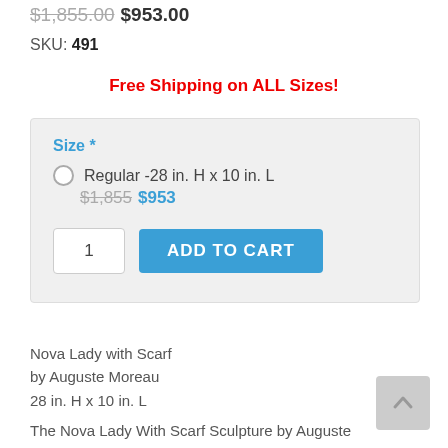$1,855.00 $953.00
SKU: 491
Free Shipping on ALL Sizes!
Size *
Regular -28 in. H x 10 in. L
$1,855 $953
1 ADD TO CART
Nova Lady with Scarf
by Auguste Moreau
28 in. H x 10 in. L
The Nova Lady With Scarf Sculpture by Auguste